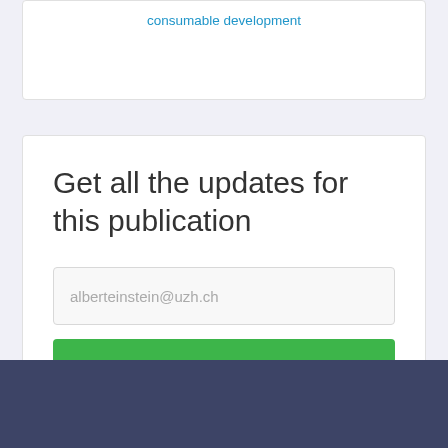consumable development
Get all the updates for this publication
alberteinstein@uzh.ch
FOLLOW